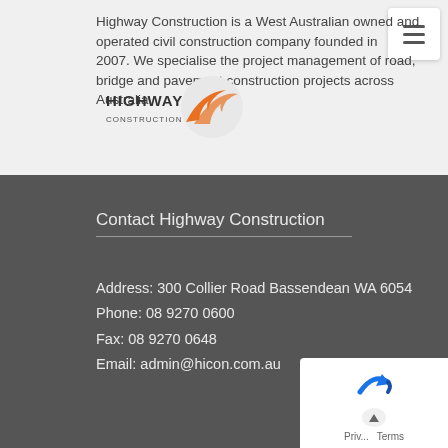Highway Construction is a West Australian owned and operated civil construction company founded in 2007. We specialise the project management of road, bridge and pavement construction projects across Australia.
[Figure (logo): Highway Construction company logo with orange swoosh graphic and bold text]
Contact Highway Construction
Address: 300 Collier Road Bassendean WA 6054
Phone: 08 9270 0600
Fax: 08 9270 0648
Email: admin@hicon.com.au